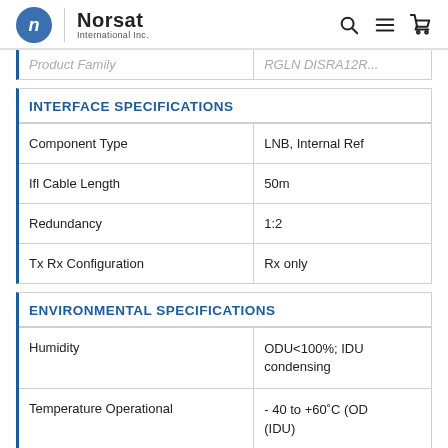Norsat International Inc.
| Product Family | RGLN... |
| --- | --- |
| Product Family | RGLN DISRA12R... |
INTERFACE SPECIFICATIONS
| Specification | Value |
| --- | --- |
| Component Type | LNB, Internal Ref |
| Ifl Cable Length | 50m |
| Redundancy | 1:2 |
| Tx Rx Configuration | Rx only |
ENVIRONMENTAL SPECIFICATIONS
| Specification | Value |
| --- | --- |
| Humidity | ODU<100%; IDU condensing |
| Temperature Operational | - 40 to +60°C (OD (IDU) |